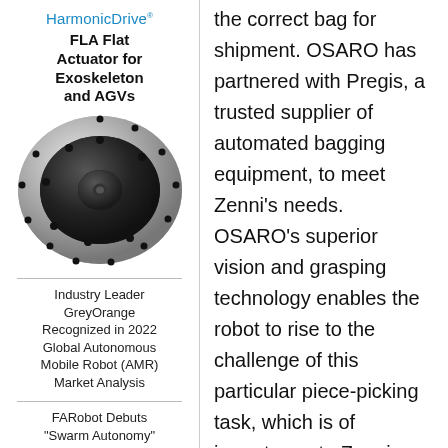[Figure (illustration): HarmonicDrive advertisement featuring FLA Flat Actuator for Exoskeleton and AGVs, with product photo of a circular flat actuator (black and silver/metallic disc with bolt holes)]
Industry Leader GreyOrange Recognized in 2022 Global Autonomous Mobile Robot (AMR) Market Analysis
FARobot Debuts "Swarm Autonomy"
the correct bag for shipment. OSARO has partnered with Pregis, a trusted supplier of automated bagging equipment, to meet Zenni's needs. OSARO's superior vision and grasping technology enables the robot to rise to the challenge of this particular piece-picking task, which is of importance to Zenni since each eyeglass order is associated with a customer's prescription